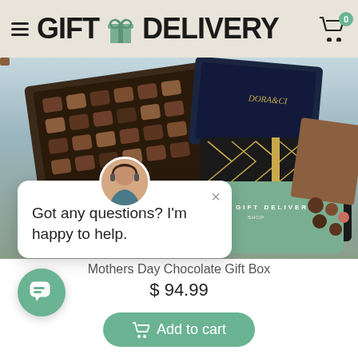GIFT DELIVERY
[Figure (photo): Assorted chocolate gift boxes and chocolates arranged together, including luxury branded boxes with geometric patterns, an open box of assorted chocolates, a gold tin, and a green Gift Delivery branded box]
Got any questions? I'm happy to help.
Mothers Day Chocolate Gift Box
$ 94.99
Add to cart